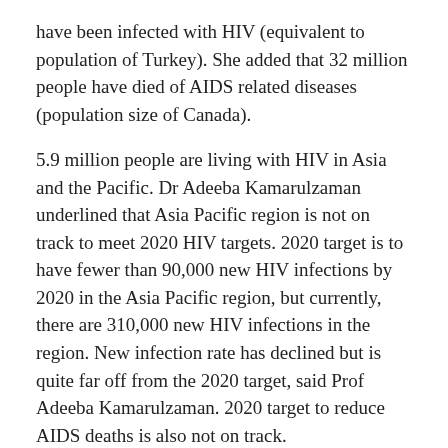have been infected with HIV (equivalent to population of Turkey). She added that 32 million people have died of AIDS related diseases (population size of Canada).
5.9 million people are living with HIV in Asia and the Pacific. Dr Adeeba Kamarulzaman underlined that Asia Pacific region is not on track to meet 2020 HIV targets. 2020 target is to have fewer than 90,000 new HIV infections by 2020 in the Asia Pacific region, but currently, there are 310,000 new HIV infections in the region. New infection rate has declined but is quite far off from the 2020 target, said Prof Adeeba Kamarulzaman. 2020 target to reduce AIDS deaths is also not on track.
- Advertisement -
Most importantly Prof Adeeba Kamarulzaman